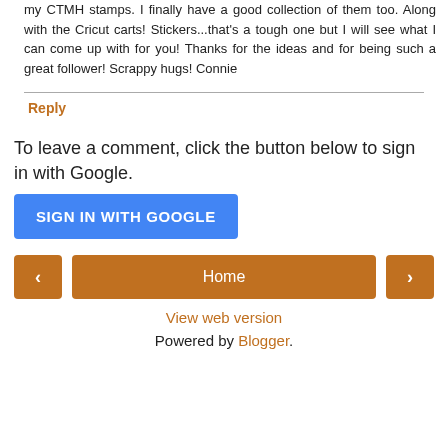my CTMH stamps. I finally have a good collection of them too. Along with the Cricut carts! Stickers...that's a tough one but I will see what I can come up with for you! Thanks for the ideas and for being such a great follower! Scrappy hugs! Connie
Reply
To leave a comment, click the button below to sign in with Google.
[Figure (other): Blue 'SIGN IN WITH GOOGLE' button]
[Figure (other): Navigation bar with left arrow button, Home button, right arrow button]
View web version
Powered by Blogger.